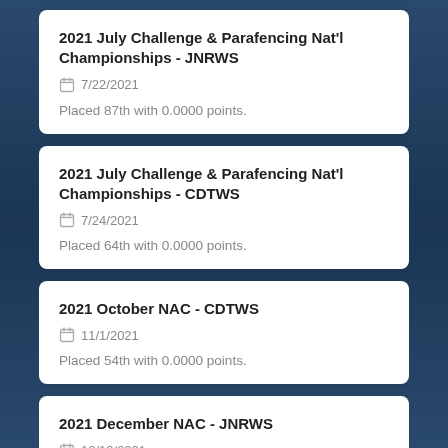2021 July Challenge & Parafencing Nat'l Championships - JNRWS
7/22/2021
Placed 87th with 0.0000 points.
2021 July Challenge & Parafencing Nat'l Championships - CDTWS
7/24/2021
Placed 64th with 0.0000 points.
2021 October NAC - CDTWS
11/1/2021
Placed 54th with 0.0000 points.
2021 December NAC - JNRWS
12/10/2021
Placed 127th with 0.0000 points.